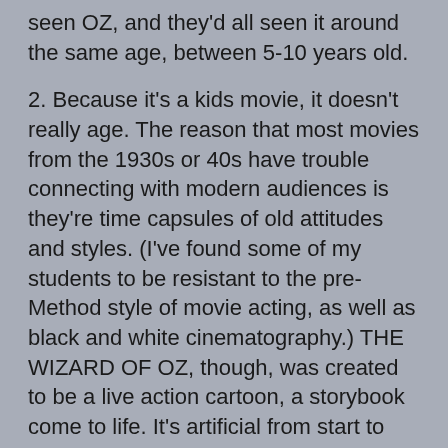seen OZ, and they'd all seen it around the same age, between 5-10 years old.
2. Because it's a kids movie, it doesn't really age. The reason that most movies from the 1930s or 40s have trouble connecting with modern audiences is they're time capsules of old attitudes and styles. (I've found some of my students to be resistant to the pre-Method style of movie acting, as well as black and white cinematography.) THE WIZARD OF OZ, though, was created to be a live action cartoon, a storybook come to life. It's artificial from start to finish, with a mythic context. The acting, music, dancing, art direction--it's all integrated and pitched at the same level of unreality. This separates it, even from most kids movies of its time, which tried to at least wink at the parents or teens in the audience. Not OZ. It knows who it's for: kids. The irony is that, because we were all kids--because we wanted to run away from home at some point, and then wanted to return, and